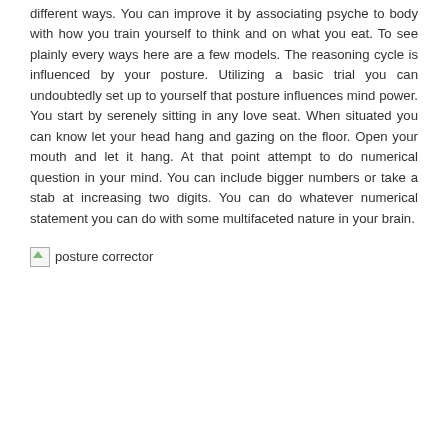different ways. You can improve it by associating psyche to body with how you train yourself to think and on what you eat. To see plainly every ways here are a few models. The reasoning cycle is influenced by your posture. Utilizing a basic trial you can undoubtedly set up to yourself that posture influences mind power. You start by serenely sitting in any love seat. When situated you can know let your head hang and gazing on the floor. Open your mouth and let it hang. At that point attempt to do numerical question in your mind. You can include bigger numbers or take a stab at increasing two digits. You can do whatever numerical statement you can do with some multifaceted nature in your brain.
[Figure (photo): Broken image placeholder labeled 'posture corrector']